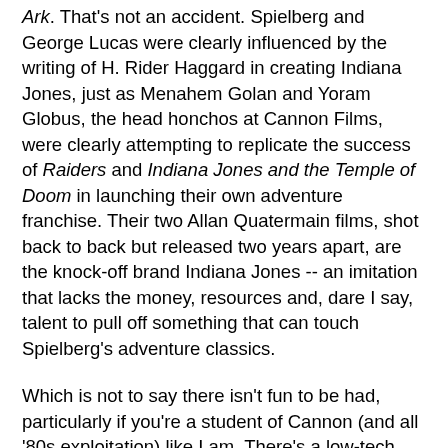Ark. That's not an accident. Spielberg and George Lucas were clearly influenced by the writing of H. Rider Haggard in creating Indiana Jones, just as Menahem Golan and Yoram Globus, the head honchos at Cannon Films, were clearly attempting to replicate the success of Raiders and Indiana Jones and the Temple of Doom in launching their own adventure franchise. Their two Allan Quatermain films, shot back to back but released two years apart, are the knock-off brand Indiana Jones -- an imitation that lacks the money, resources and, dare I say, talent to pull off something that can touch Spielberg's adventure classics.
Which is not to say there isn't fun to be had, particularly if you're a student of Cannon (and all '80s exploitation) like I am. There's a low-tech charm to the way Cannon strives for big-budget scale in some of their more ambitious efforts, a category in which I would include both King Solomon's Mines and its sequel. There are underground volcanoes and giant underwater monsters. There is an alligator pit and there is quicksand. There are armies and African tribes (which reminds me, this movie is really racist even by the standards of a 1985 adaptation of 1800s literature). Cannon